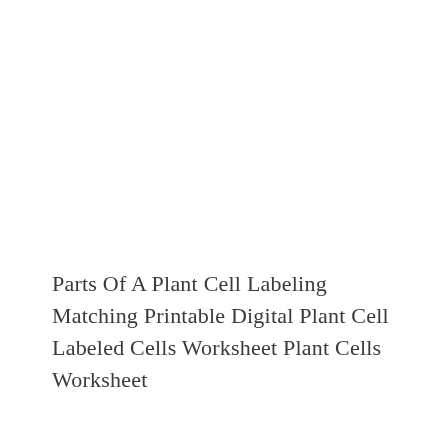Parts Of A Plant Cell Labeling Matching Printable Digital Plant Cell Labeled Cells Worksheet Plant Cells Worksheet